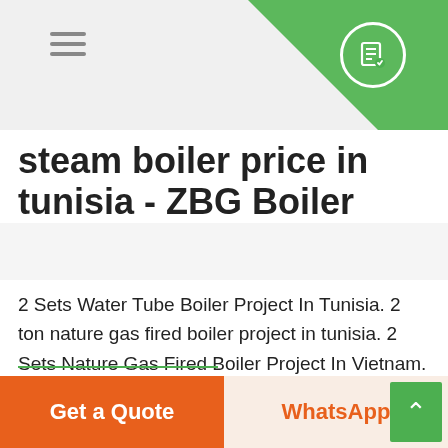steam boiler price in tunisia - ZBG Boiler
steam boiler price in tunisia - ZBG Boiler
2 Sets Water Tube Boiler Project In Tunisia. 2 ton nature gas fired boiler project in tunisia. 2 Sets Nature Gas Fired Boiler Project In Vietnam. 2 sets 20ton gas fired steam boiler trader t. 2 sets 20 ton gas fired steam boiler trader to . 7 ton natural gas fired boiler Spain for power plant. Liming 183; Compared with other fossil fuels, natural gas is a cost-effective feed for making